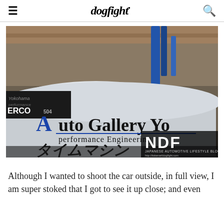dogfight
[Figure (photo): Close-up photo of a white Japanese race/time-attack car with 'Auto Gallery Yo... performance Engineering' decal in blue and black, Japanese katakana text on the door, Yokohama and ERCO stickers near the door edge, NDF watermark in bottom-right corner reading 'JAPANESE AUTOMOTIVE LIFESTYLE BLOG http://itskenarildogfight.com']
Although I wanted to shoot the car outside, in full view, I am super stoked that I got to see it up close; and even